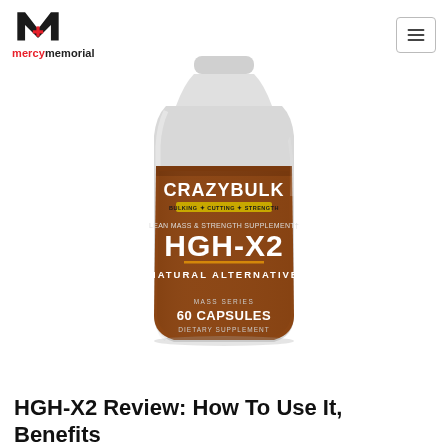[Figure (logo): Mercy Memorial logo with stylized M and cross symbol above text 'mercymemorial']
[Figure (photo): CrazyBulk HGH-X2 supplement bottle - brown/orange label with white text showing CRAZYBULK, BULKING + CUTTING + STRENGTH, LEAN MASS & STRENGTH SUPPLEMENT, HGH-X2, NATURAL ALTERNATIVE, MASS SERIES, 60 CAPSULES, DIETARY SUPPLEMENT]
HGH-X2 Review: How To Use It, Benefits & Ingredients